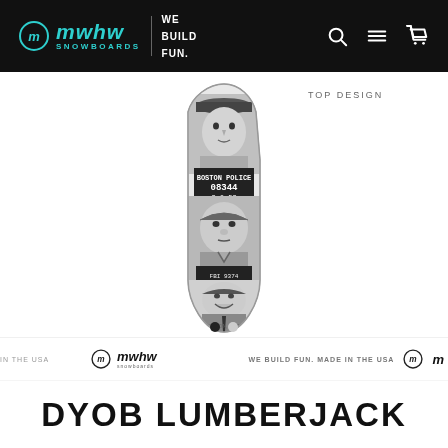MWHW SNOWBOARDS | WE BUILD FUN.
TOP DESIGN
[Figure (photo): A snowboard (DYOB Lumberjack) with black and white mugshot photos printed on its top design, showing Boston Police mugshot number 08344 dated 3-6-53]
WE BUILD FUN. MADE IN THE USA
DYOB LUMBERJACK